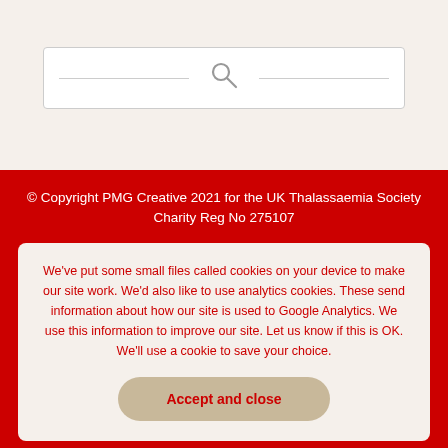[Figure (screenshot): Search box with magnifying glass icon and horizontal lines on either side]
© Copyright PMG Creative 2021 for the UK Thalassaemia Society Charity Reg No 275107
We've put some small files called cookies on your device to make our site work. We'd also like to use analytics cookies. These send information about how our site is used to Google Analytics. We use this information to improve our site. Let us know if this is OK. We'll use a cookie to save your choice.
Accept and close